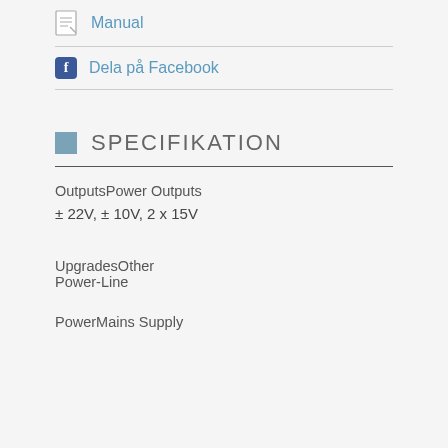Manual
Dela på Facebook
SPECIFIKATION
OutputsPower Outputs
± 22V, ± 10V, 2 x 15V
UpgradesOther Power-Line
PowerMains Supply